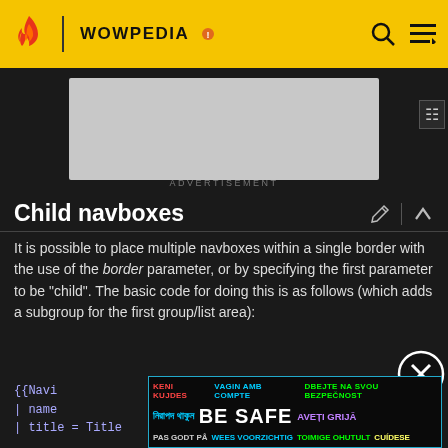WOWPEDIA
[Figure (screenshot): Advertisement placeholder rectangle]
ADVERTISEMENT
Child navboxes
It is possible to place multiple navboxes within a single border with the use of the border parameter, or by specifying the first parameter to be "child". The basic code for doing this is as follows (which adds a subgroup for the first group/list area):
{{Navi
| name
| title = Title
[Figure (infographic): BE SAFE multilingual safety advertisement banner overlay]